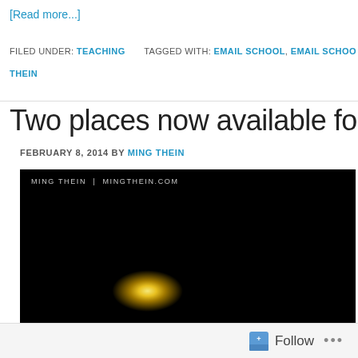[Read more...]
FILED UNDER: TEACHING   TAGGED WITH: EMAIL SCHOOL, EMAIL SCHOOL THEIN
Two places now available for the
FEBRUARY 8, 2014 BY MING THEIN
[Figure (photo): Dark photograph with watermark 'MING THEIN | MINGTHEIN.COM', showing a dark architectural scene with a bright light source (moon or lamp) in the lower portion]
Follow ...